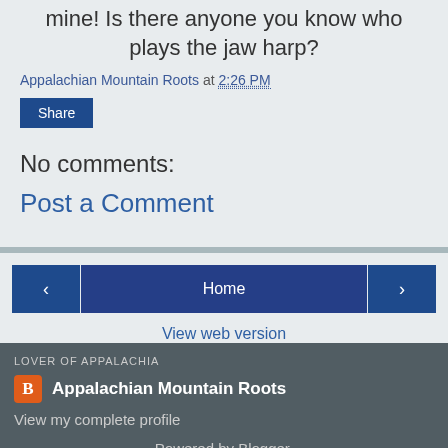mine! Is there anyone you know who plays the jaw harp?
Appalachian Mountain Roots at 2:26 PM
Share
No comments:
Post a Comment
‹  Home  ›
View web version
LOVER OF APPALACHIA
Appalachian Mountain Roots
View my complete profile
Powered by Blogger.